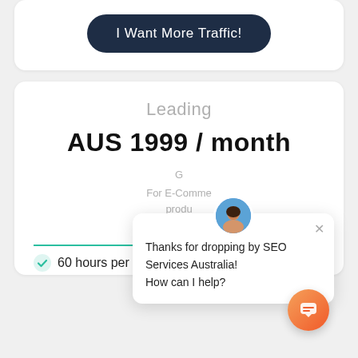I Want More Traffic!
Leading
AUS 1999 / month
G
For E-Commerce products Australia
[Figure (other): Chat popup overlay with avatar photo of a woman, close button X, and text: Thanks for dropping by SEO Services Australia! How can I help?]
60 hours per month